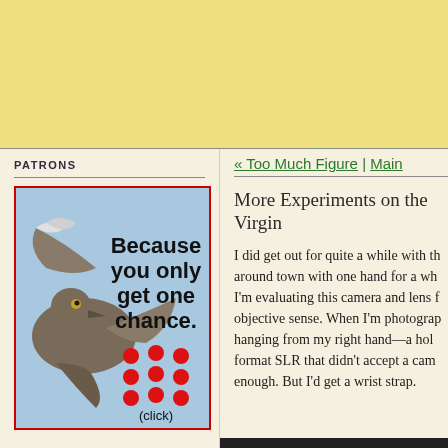[Figure (other): Yellow/cream banner area at top of page]
PATRONS
[Figure (photo): Advertisement showing a bird in flight with text 'Because you only get one chance.' and red dots grid with '(click)' below]
« Too Much Figure | Main
More Experiments on the Virgin
I did get out for quite a while with th around town with one hand for a wh I'm evaluating this camera and lens f objective sense. When I'm photograp hanging from my right hand—a hol format SLR that didn't accept a cam enough. But I'd get a wrist strap.